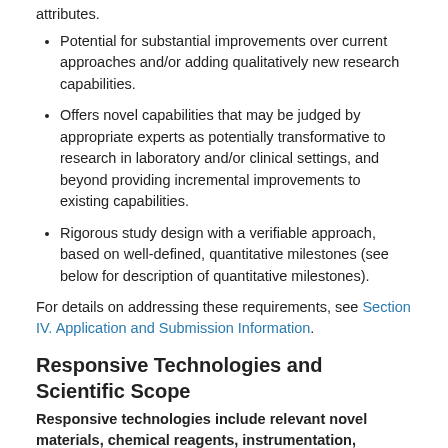attributes.
Potential for substantial improvements over current approaches and/or adding qualitatively new research capabilities.
Offers novel capabilities that may be judged by appropriate experts as potentially transformative to research in laboratory and/or clinical settings, and beyond providing incremental improvements to existing capabilities.
Rigorous study design with a verifiable approach, based on well-defined, quantitative milestones (see below for description of quantitative milestones).
For details on addressing these requirements, see Section IV. Application and Submission Information.
Responsive Technologies and Scientific Scope
Responsive technologies include relevant novel materials, chemical reagents, instrumentation, devices, and associated methods. These technologies may be intended for molecular and/or cellular analyses in vitro, in situ, and/or in vivo (with some exceptions listed below), and may target the needs of basic, diagnostic, translational, epidemiological, and/or clinical cancer research or otherwise address issues associated with cancer health disparities. It must be clear that proposed projects are focused on the development